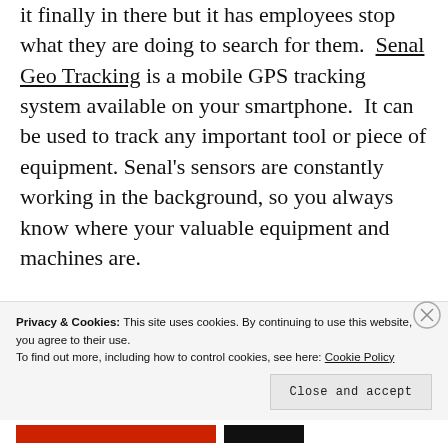it finally in there but it has employees stop what they are doing to search for them. Senal Geo Tracking is a mobile GPS tracking system available on your smartphone. It can be used to track any important tool or piece of equipment. Senal's sensors are constantly working in the background, so you always know where your valuable equipment and machines are.
Privacy & Cookies: This site uses cookies. By continuing to use this website, you agree to their use. To find out more, including how to control cookies, see here: Cookie Policy